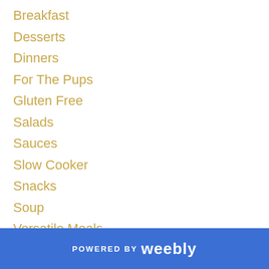Breakfast
Desserts
Dinners
For The Pups
Gluten Free
Salads
Sauces
Slow Cooker
Snacks
Soup
Versatile Meals
[Figure (other): Pin it button with red italic text on white background with border]
POWERED BY weebly